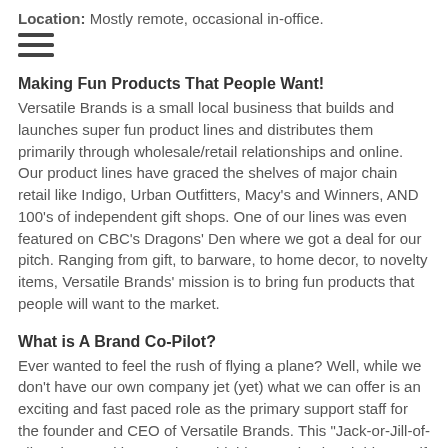Location: Mostly remote, occasional in-office.
[Figure (other): Hamburger menu icon (three horizontal lines)]
Making Fun Products That People Want!
Versatile Brands is a small local business that builds and launches super fun product lines and distributes them primarily through wholesale/retail relationships and online. Our product lines have graced the shelves of major chain retail like Indigo, Urban Outfitters, Macy's and Winners, AND 100's of independent gift shops. One of our lines was even featured on CBC's Dragons' Den where we got a deal for our pitch. Ranging from gift, to barware, to home decor, to novelty items, Versatile Brands' mission is to bring fun products that people will want to the market.
What is A Brand Co-Pilot?
Ever wanted to feel the rush of flying a plane? Well, while we don't have our own company jet (yet) what we can offer is an exciting and fast paced role as the primary support staff for the founder and CEO of Versatile Brands. This "Jack-or-Jill-of-all-trades" position requires a highly organized and driven self starter with the ability to take initiative and work independently